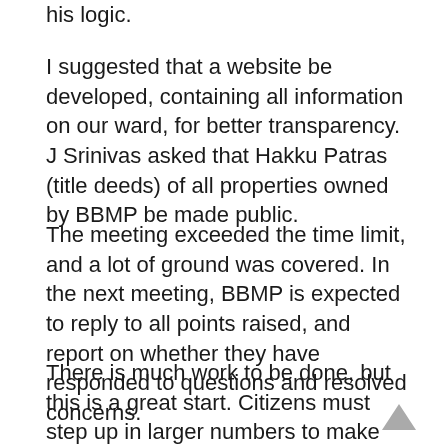his logic.
I suggested that a website be developed, containing all information on our ward, for better transparency. J Srinivas asked that Hakku Patras (title deeds) of all properties owned by BBMP be made public.
The meeting exceeded the time limit, and a lot of ground was covered. In the next meeting, BBMP is expected to reply to all points raised, and report on whether they have responded to questions and resolved concerns.
There is much work to be done, but this is a great start. Citizens must step up in larger numbers to make our system accountable. My hope is that the ward committee will be more representative of all areas in our ward, and also include all demographic groups. It will make Shantinagar a model ward and a super-vibrant community.